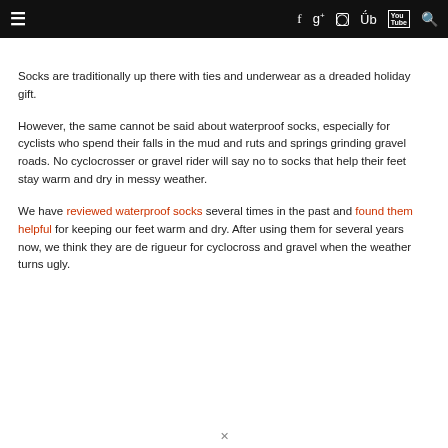Navigation bar with hamburger menu and social icons (Facebook, Google+, Instagram, Twitter, YouTube, Search)
Socks are traditionally up there with ties and underwear as a dreaded holiday gift.
However, the same cannot be said about waterproof socks, especially for cyclists who spend their falls in the mud and ruts and springs grinding gravel roads. No cyclocrosser or gravel rider will say no to socks that help their feet stay warm and dry in messy weather.
We have reviewed waterproof socks several times in the past and found them helpful for keeping our feet warm and dry. After using them for several years now, we think they are de rigueur for cyclocross and gravel when the weather turns ugly.
×